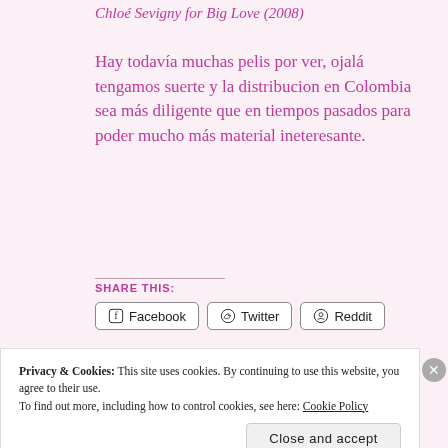Chloé Sevigny for Big Love (2008)
Hay todavía muchas pelis por ver, ojalá tengamos suerte y la distribucion en Colombia sea más diligente que en tiempos pasados para poder mucho más material ineteresante.
SHARE THIS:
[Figure (screenshot): Share buttons for Facebook, Twitter, and Reddit]
Privacy & Cookies: This site uses cookies. By continuing to use this website, you agree to their use. To find out more, including how to control cookies, see here: Cookie Policy
Close and accept